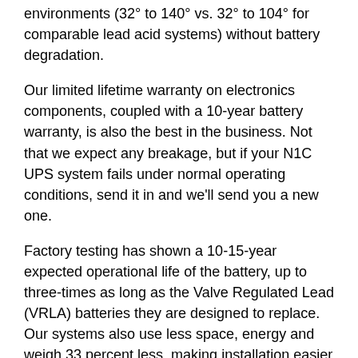environments (32° to 140° vs. 32° to 104° for comparable lead acid systems) without battery degradation.
Our limited lifetime warranty on electronics components, coupled with a 10-year battery warranty, is also the best in the business. Not that we expect any breakage, but if your N1C UPS system fails under normal operating conditions, send it in and we'll send you a new one.
Factory testing has shown a 10-15-year expected operational life of the battery, up to three-times as long as the Valve Regulated Lead (VRLA) batteries they are designed to replace. Our systems also use less space, energy and weigh 33 percent less, making installation easier and more convenient. We even include adjustable rail kits for mounting in four-post IT racks.